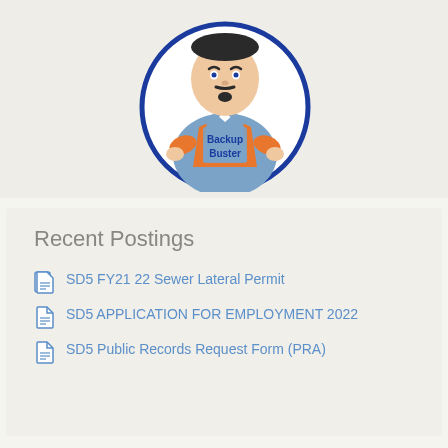[Figure (logo): Backup Buster mascot logo — cartoon man with goatee wearing blue overalls over orange shirt, inside a blue circle, with 'Backup Buster' text on the apron]
Recent Postings
SD5 FY21 22 Sewer Lateral Permit
SD5 APPLICATION FOR EMPLOYMENT 2022
SD5 Public Records Request Form (PRA)